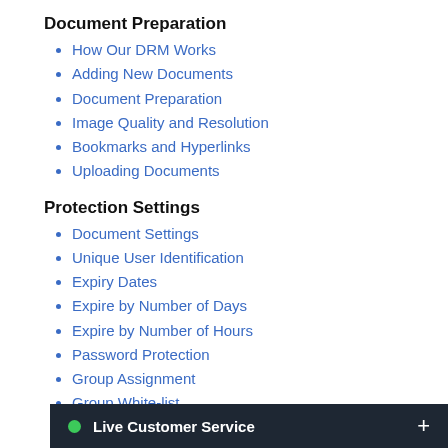Document Preparation
How Our DRM Works
Adding New Documents
Document Preparation
Image Quality and Resolution
Bookmarks and Hyperlinks
Uploading Documents
Protection Settings
Document Settings
Unique User Identification
Expiry Dates
Expire by Number of Days
Expire by Number of Hours
Password Protection
Group Assignment
Group White-list
Print Limitation
Print Anywhere
Remote view
Allow capture
User Management
Adding New Users
Add…
Add…
Con…
Use…
Live Customer Service